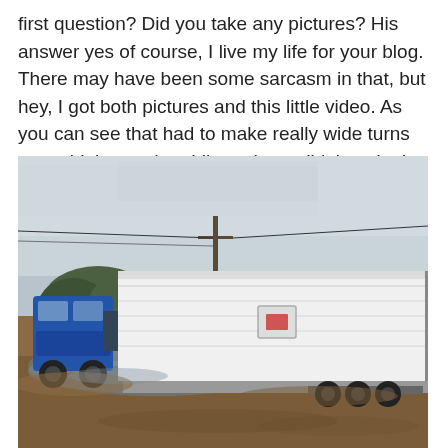first question?  Did you take any pictures?  His answer yes of course, I live my life for your blog.  There may have been some sarcasm in that, but hey, I got both pictures and this little video. As you can see that had to make really wide turns to avoid the mud puddle and one didn't make it.
[Figure (photo): A large white trailer being towed by a truck through a muddy flooded dirt road. The trailer appears stuck or driving through a large mud puddle. There is a utility pole and desert shrubs in the background under an overcast sky.]